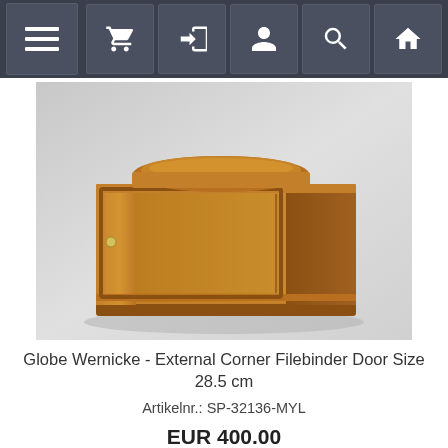Navigation bar with hamburger menu and icons: cart, login, user, search, home
[Figure (photo): A wooden Globe Wernicke external corner filebinder cabinet unit with glass door, displayed on a grey background. The unit has a rounded top piece and an open shelf interior visible through the glass front door.]
Globe Wernicke - External Corner Filebinder Door Size 28.5 cm
Artikelnr.: SP-32136-MYL
EUR 400.00